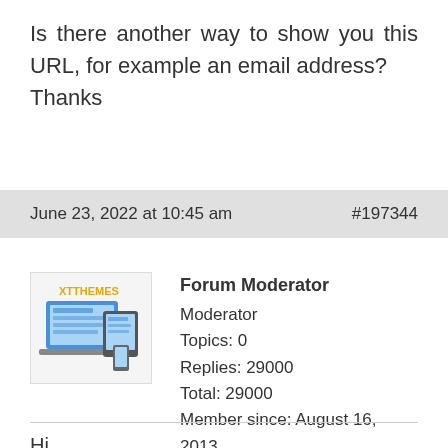Is there another way to show you this URL, for example an email address?
Thanks
June 23, 2022 at 10:45 am   #197344
[Figure (logo): Forum Moderator avatar showing XTThemes logo with laptop and tablet devices]
Forum Moderator
Moderator
Topics: 0
Replies: 29000
Total: 29000
Member since: August 16, 2013
Hi,
Kindly go to Appearance >>